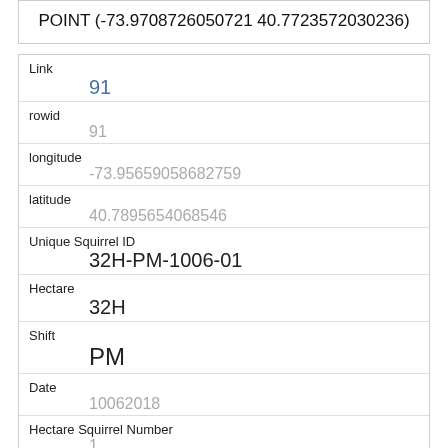|  | POINT (-73.9708726050721 40.7723572030236) |
| Link | 91 |
| rowid | 91 |
| longitude | -73.95659058682759 |
| latitude | 40.7895654068546 |
| Unique Squirrel ID | 32H-PM-1006-01 |
| Hectare | 32H |
| Shift | PM |
| Date | 10062018 |
| Hectare Squirrel Number | 1 |